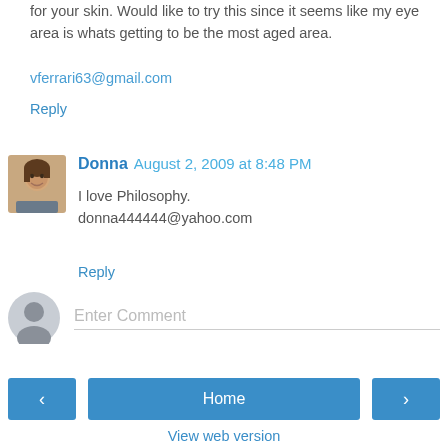for your skin. Would like to try this since it seems like my eye area is whats getting to be the most aged area.

vferrari63@gmail.com
Reply
Donna  August 2, 2009 at 8:48 PM
I love Philosophy.
donna444444@yahoo.com
Reply
Enter Comment
Home
View web version